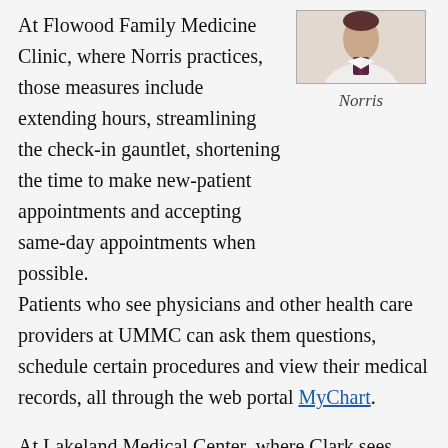At Flowood Family Medicine Clinic, where Norris practices, those measures include extending hours, streamlining the check-in gauntlet, shortening the time to make new-patient appointments and accepting same-day appointments when possible.
[Figure (photo): Portrait photo of Norris, a person in a white coat with a dark tie/scarf, cropped at the shoulders.]
Norris
Patients who see physicians and other health care providers at UMMC can ask them questions, schedule certain procedures and view their medical records, all through the web portal MyChart.
At Lakeland Medical Center, where Clark sees patients, 7 a.m. clinics are standard, and evening appointments are in the works.